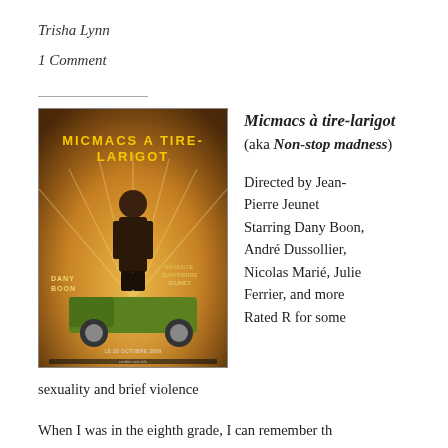Trisha Lynn
1 Comment
[Figure (photo): Movie poster for Micmacs à tire-larigot featuring a man standing in front of a green truck with golden title text on a warm brown background, credits for Dany Boon and Jean-Pierre Jeunet]
Micmacs à tire-larigot (aka Non-stop madness)

Directed by Jean-Pierre Jeunet
Starring Dany Boon, André Dussollier, Nicolas Marié, Julie Ferrier, and more
Rated R for some sexuality and brief violence
When I was in the eighth grade, I can remember th...